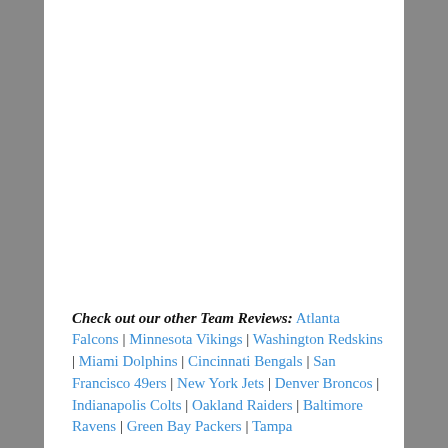Check out our other Team Reviews: Atlanta Falcons | Minnesota Vikings | Washington Redskins | Miami Dolphins | Cincinnati Bengals | San Francisco 49ers | New York Jets | Denver Broncos | Indianapolis Colts | Oakland Raiders | Baltimore Ravens | Green Bay Packers | Tampa